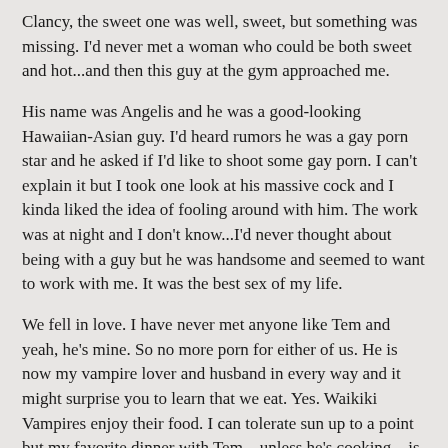Clancy, the sweet one was well, sweet, but something was missing. I'd never met a woman who could be both sweet and hot...and then this guy at the gym approached me.
His name was Angelis and he was a good-looking Hawaiian-Asian guy. I'd heard rumors he was a gay porn star and he asked if I'd like to shoot some gay porn. I can't explain it but I took one look at his massive cock and I kinda liked the idea of fooling around with him. The work was at night and I don't know...I'd never thought about being with a guy but he was handsome and seemed to want to work with me. It was the best sex of my life.
We fell in love. I have never met anyone like Tem and yeah, he's mine. So no more porn for either of us. He is now my vampire lover and husband in every way and it might surprise you to learn that we eat. Yes. Waikiki Vampires enjoy their food. I can tolerate sun up to a point but my favorite dinner with Tem – unless he's cooking – is to go to Duke's at the Outrigger Hotel in Waikiki.